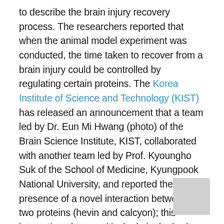to describe the brain injury recovery process. The researchers reported that when the animal model experiment was conducted, the time taken to recover from a brain injury could be controlled by regulating certain proteins. The Korea Institute of Science and Technology (KIST) has released an announcement that a team led by Dr. Eun Mi Hwang (photo) of the Brain Science Institute, KIST, collaborated with another team led by Prof. Kyoungho Suk of the School of Medicine, Kyungpook National University, and reported the presence of a novel interaction between two proteins (hevin and calcyon); this interaction plays a critical role in the brain injury recovery process in adults. The researchers also revealed that this interaction plays an important role in the early stages of recovery. The results were published online on March 22, 2021 in Cell Death and Differentiation. The article is titled “Hevin–Calcyon Interaction Promotes Synaptic